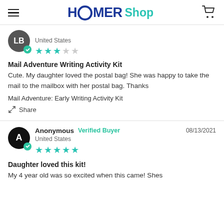HOMER Shop
United States
2 out of 5 stars
Mail Adventure Writing Activity Kit
Cute. My daughter loved the postal bag! She was happy to take the mail to the mailbox with her postal bag. Thanks
Mail Adventure: Early Writing Activity Kit
Share
Anonymous  Verified Buyer  08/13/2021  United States
5 out of 5 stars
Daughter loved this kit!
My 4 year old was so excited when this came! Shes